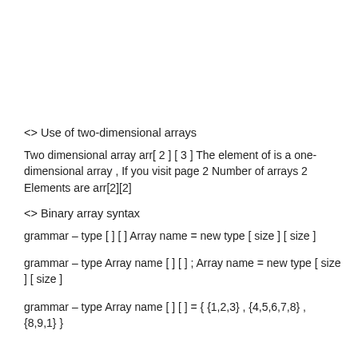<> Use of two-dimensional arrays
Two dimensional array arr[ 2 ] [ 3 ] The element of is a one-dimensional array , If you visit page 2 Number of arrays 2 Elements are arr[2][2]
<> Binary array syntax
grammar – type [ ] [ ] Array name = new type [ size ] [ size ]
grammar – type Array name [ ] [ ] ; Array name = new type [ size ] [ size ]
grammar – type Array name [ ] [ ] = { {1,2,3} , {4,5,6,7,8} , {8,9,1} }